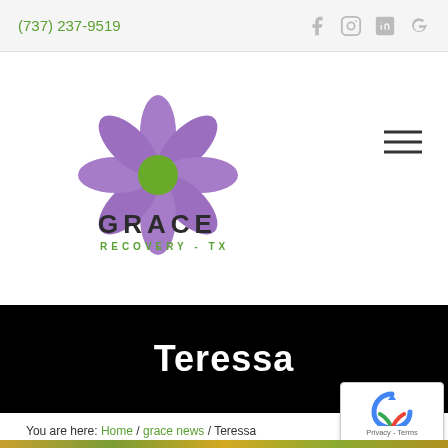(737) 237-9519
[Figure (logo): Grace Recovery TX logo with purple flower and green center, company name GRACE RECOVERY - TX]
Teressa
You are here: Home / grace news / Teressa
November 2, 2018 by Leah
[Figure (photo): Partial colorful photo visible at bottom of page]